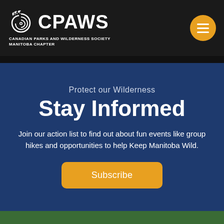[Figure (logo): CPAWS - Canadian Parks and Wilderness Society, Manitoba Chapter logo with spiral icon on dark background]
Protect our Wilderness
Stay Informed
Join our action list to find out about fun events like group hikes and opportunities to help Keep Manitoba Wild.
Subscribe